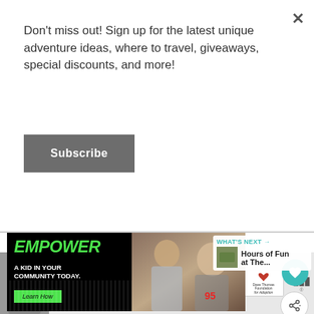Don't miss out! Sign up for the latest unique adventure ideas, where to travel, giveaways, special discounts, and more!
Subscribe
[Figure (photo): Big Brothers Big Sisters of America advertisement: black panel with 'EMPOWER A KID IN YOUR COMMUNITY TODAY.' in green/white text and a 'Learn How' green button, alongside a photo of an adult man and a child working on a toy car]
[Figure (screenshot): What's Next promo thumbnail with teal label 'WHAT'S NEXT' and title 'Hours of Fun at The...']
[Figure (photo): Bottom advertisement banner: Dave Thomas Foundation for Adoption ad with quote 'I was scared, I was lost, and I felt hopeless.' alongside a black-and-white photo of a young woman and the Dave Thomas Foundation logo, with a WM logo on the right]